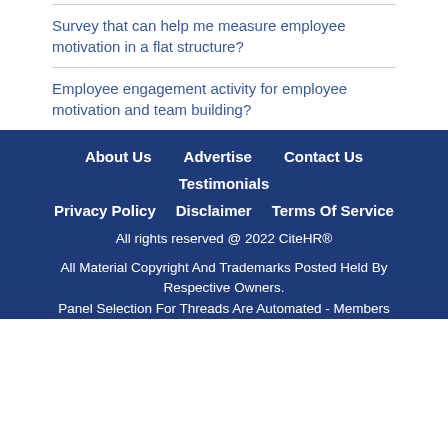Survey that can help me measure employee motivation in a flat structure?
Employee engagement activity for employee motivation and team building?
About Us   Advertise   Contact Us   Testimonials   Privacy Policy   Disclaimer   Terms Of Service   All rights reserved @ 2022 CiteHR®   All Material Copyright And Trademarks Posted Held By Respective Owners.   Panel Selection For Threads Are Automated - Members